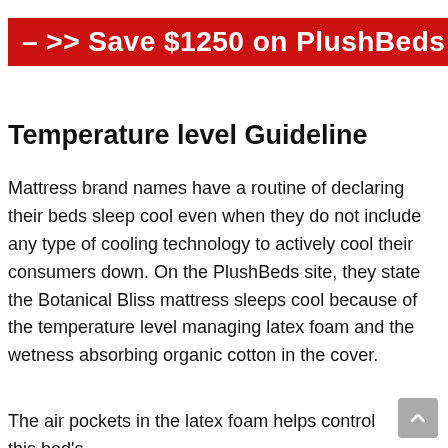– >> Save $1250 on PlushBeds
Temperature level Guideline
Mattress brand names have a routine of declaring their beds sleep cool even when they do not include any type of cooling technology to actively cool their consumers down. On the PlushBeds site, they state the Botanical Bliss mattress sleeps cool because of the temperature level managing latex foam and the wetness absorbing organic cotton in the cover.
The air pockets in the latex foam helps control this bed's